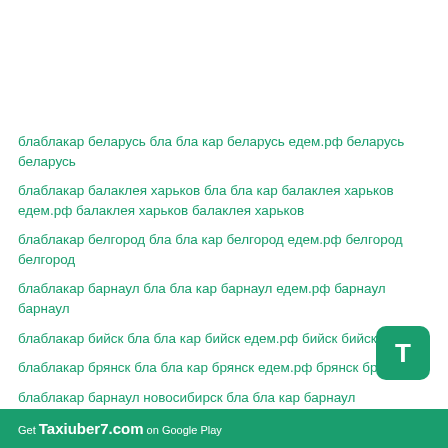блаблакар беларусь бла бла кар беларусь едем.рф беларусь беларусь
блаблакар балаклея харьков бла бла кар балаклея харьков едем.рф балаклея харьков балаклея харьков
блаблакар белгород бла бла кар белгород едем.рф белгород белгород
блаблакар барнаул бла бла кар барнаул едем.рф барнаул барнаул
блаблакар бийск бла бла кар бийск едем.рф бийск бийск
блаблакар брянск бла бла кар брянск едем.рф брянск брянск
блаблакар барнаул новосибирск бла бла кар барнаул новосибирск едем.рф барнаул новосибирск барнаул
Get Taxiuber7.com on Google Play